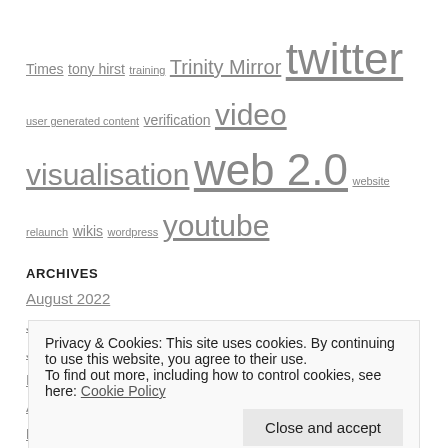Times  tony hirst  training  Trinity Mirror  twitter  user generated content  verification  video  visualisation  web 2.0  website relaunch  wikis  wordpress  youtube
ARCHIVES
August 2022
July 2022
June 2022
May 2022
April 2022
March 2022
Privacy & Cookies: This site uses cookies. By continuing to use this website, you agree to their use.
To find out more, including how to control cookies, see here: Cookie Policy
May 2021